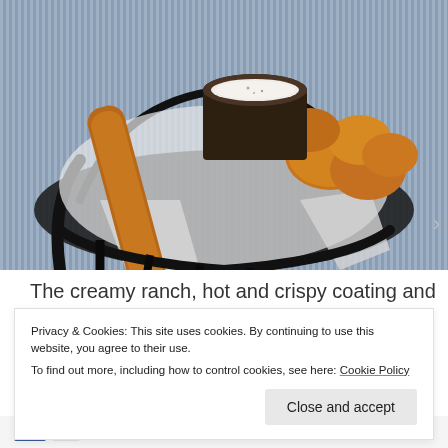[Figure (photo): Close-up photo of fried food items (cheese curds or similar fried appetizers) and a fried breadstick in a black wire basket lined with white paper, with a small dark cup of creamy ranch dipping sauce, on a blue striped surface.]
The creamy ranch, hot and crispy coating and warm, sour
Privacy & Cookies: This site uses cookies. By continuing to use this website, you agree to their use.
To find out more, including how to control cookies, see here: Cookie Policy
Close and accept